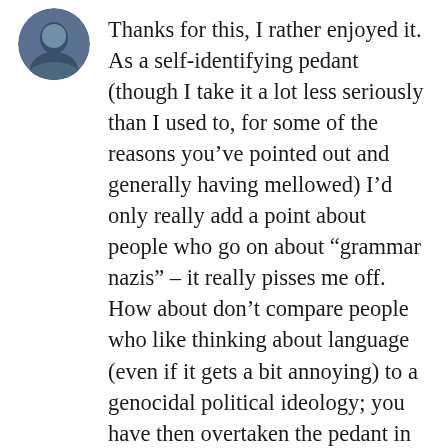[Figure (photo): Circular avatar photo of a person with a dark/blue-grey toned image]
Thanks for this, I rather enjoyed it. As a self-identifying pedant (though I take it a lot less seriously than I used to, for some of the reasons you’ve pointed out and generally having mellowed) I’d only really add a point about people who go on about “grammar nazis” – it really pisses me off. How about don’t compare people who like thinking about language (even if it gets a bit annoying) to a genocidal political ideology; you have then overtaken the pedant in terms of